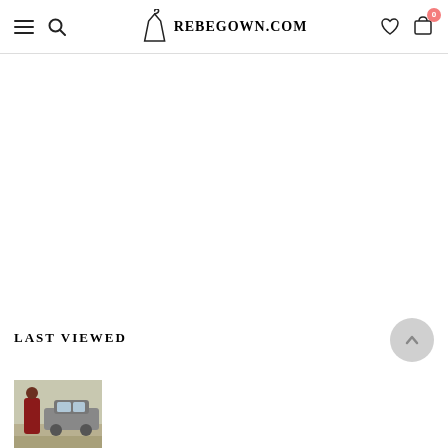REBEGOWN.COM
LAST VIEWED
[Figure (photo): Thumbnail photo of a person in a dark red outfit standing near a car outdoors]